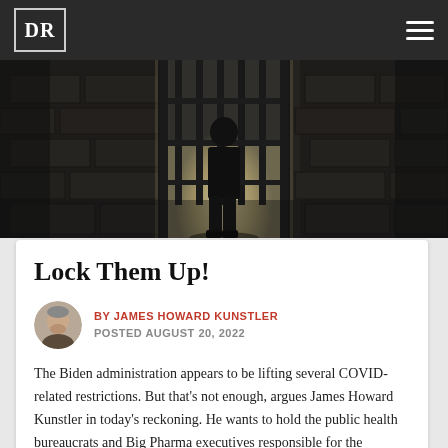DR
[Figure (photo): Silhouette of a person standing in front of barred prison-like doors in a dark stone corridor, backlit by light coming through the bars.]
Lock Them Up!
BY JAMES HOWARD KUNSTLER
POSTED AUGUST 20, 2022
The Biden administration appears to be lifting several COVID-related restrictions. But that's not enough, argues James Howard Kunstler in today's reckoning. He wants to hold the public health bureaucrats and Big Pharma executives responsible for the countless damages they've done. James takes no prisoners.